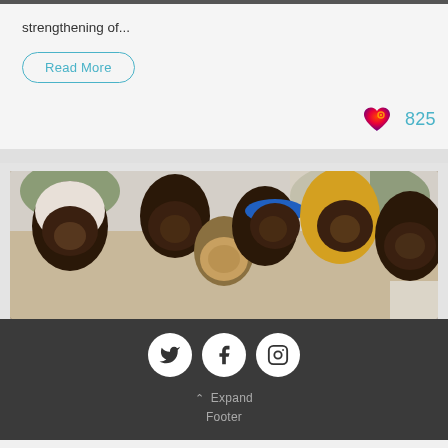strengthening of...
Read More
825
[Figure (photo): Group selfie photo of several women smiling closely together, one wearing a blue headband, another in a yellow headscarf, with trees/building in the background.]
[Figure (other): Social media footer with Twitter, Facebook, and Instagram circular icons on dark background, plus Expand Footer link.]
Expand Footer